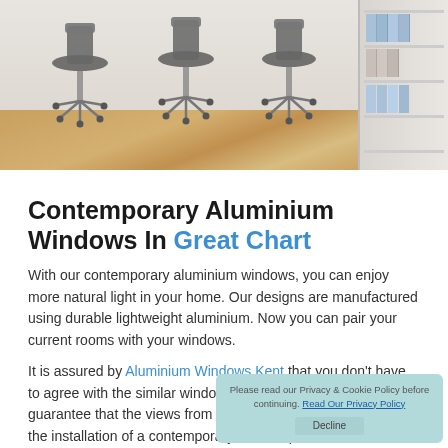[Figure (photo): Office chairs on a wooden floor with a bookshelf in the background]
Contemporary Aluminium Windows In Great Chart
With our contemporary aluminium windows, you can enjoy more natural light in your home. Our designs are manufactured using durable lightweight aluminium. Now you can pair your current rooms with your windows.
It is assured by Aluminium Windows Kent that you don't have to agree with the similar window design in each room. We guarantee that the views from your home will be enhanced by the installation of a contemporary window product. We can assist you to search the correct Great Chart contemporary aluminium window for your landscape if you have the perfect
Please read our Privacy & Cookie Policy before continuing. Read Our Privacy Policy
Decline